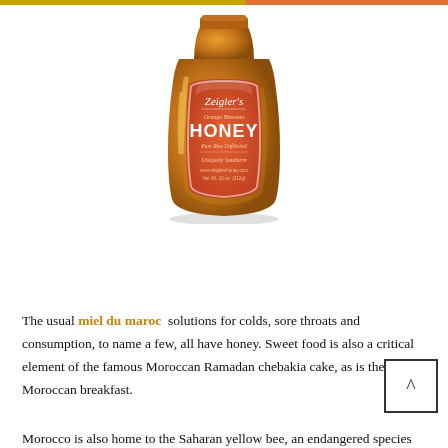[Figure (photo): A bottle of Zeigler's Orange Blossom Honey, amber-colored glass bottle with orange label, displayed on white background]
The usual miel du maroc solutions for colds, sore throats and consumption, to name a few, all have honey. Sweet food is also a critical element of the famous Moroccan Ramadan chebakia cake, as is the basic Moroccan breakfast.
Morocco is also home to the Saharan yellow bee, an endangered species that